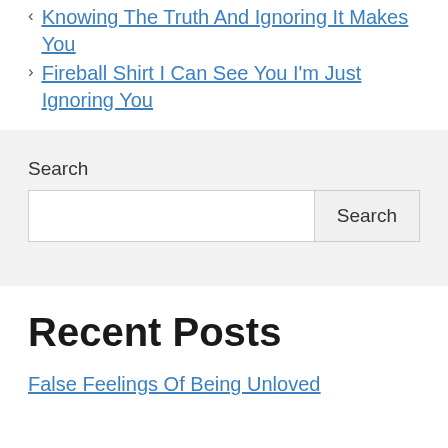< Knowing The Truth And Ignoring It Makes You
> Fireball Shirt I Can See You I'm Just Ignoring You
Search
Recent Posts
False Feelings Of Being Unloved